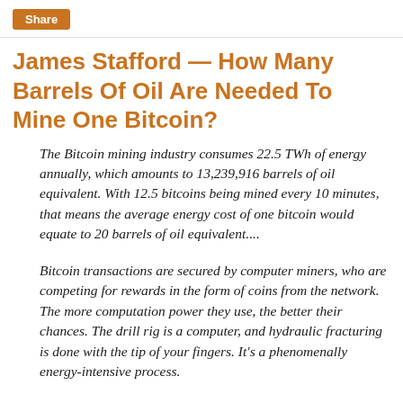Share
James Stafford — How Many Barrels Of Oil Are Needed To Mine One Bitcoin?
The Bitcoin mining industry consumes 22.5 TWh of energy annually, which amounts to 13,239,916 barrels of oil equivalent. With 12.5 bitcoins being mined every 10 minutes, that means the average energy cost of one bitcoin would equate to 20 barrels of oil equivalent....
Bitcoin transactions are secured by computer miners, who are competing for rewards in the form of coins from the network. The more computation power they use, the better their chances. The drill rig is a computer, and hydraulic fracturing is done with the tip of your fingers. It's a phenomenally energy-intensive process.